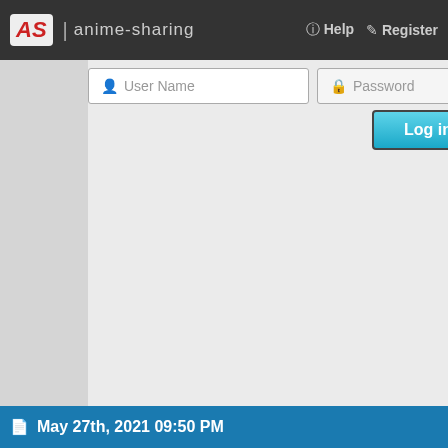AS | anime-sharing  Help  Register
[Figure (screenshot): Login form with User Name and Password fields and a Log in button]
Spoiler: 2021 May Gam...
Last edited by girlcelly; May 27th, 202...
🔔 Le...
When a bird is alive, i...
Time and circumstances can...
One tree makes a million m...

You m...
Time is more powerfu...

~I had see...
May 27th, 2021 09:50 PM